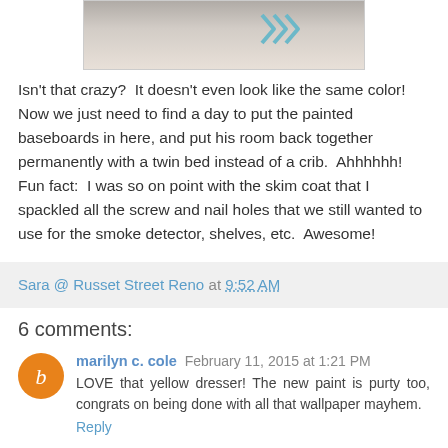[Figure (photo): Partial photo of a person's arm/hand near a wall with a chevron pattern, cropped at top]
Isn't that crazy?  It doesn't even look like the same color!  Now we just need to find a day to put the painted baseboards in here, and put his room back together permanently with a twin bed instead of a crib.  Ahhhhhh!  Fun fact:  I was so on point with the skim coat that I spackled all the screw and nail holes that we still wanted to use for the smoke detector, shelves, etc.  Awesome!
Sara @ Russet Street Reno at 9:52 AM
6 comments:
marilyn c. cole February 11, 2015 at 1:21 PM
LOVE that yellow dresser! The new paint is purty too, congrats on being done with all that wallpaper mayhem.
Reply